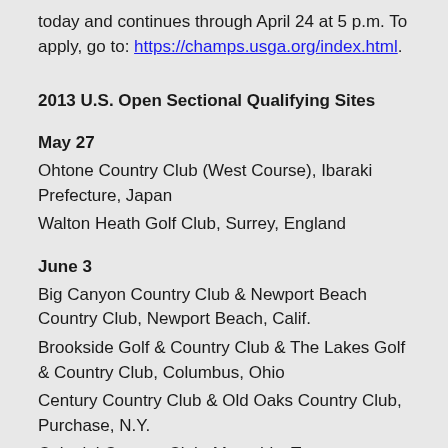today and continues through April 24 at 5 p.m. To apply, go to: https://champs.usga.org/index.html.
2013 U.S. Open Sectional Qualifying Sites
May 27
Ohtone Country Club (West Course), Ibaraki Prefecture, Japan
Walton Heath Golf Club, Surrey, England
June 3
Big Canyon Country Club & Newport Beach Country Club, Newport Beach, Calif.
Brookside Golf & Country Club & The Lakes Golf & Country Club, Columbus, Ohio
Century Country Club & Old Oaks Country Club, Purchase, N.Y.
Colonial Country Club, Memphis, Tenn.